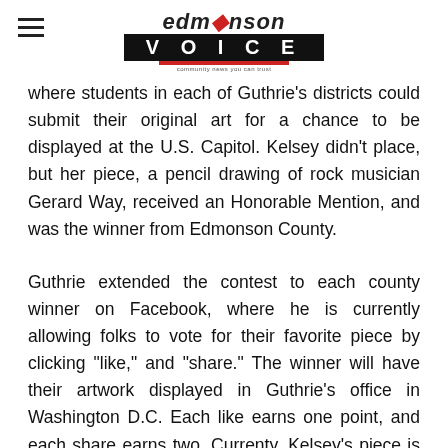Edmonson Voice
where students in each of Guthrie's districts could submit their original art for a chance to be displayed at the U.S. Capitol. Kelsey didn't place, but her piece, a pencil drawing of rock musician Gerard Way, received an Honorable Mention, and was the winner from Edmonson County.
Guthrie extended the contest to each county winner on Facebook, where he is currently allowing folks to vote for their favorite piece by clicking "like," and "share." The winner will have their artwork displayed in Guthrie's office in Washington D.C. Each like earns one point, and each share earns two. Currenty, Kelsey's piece is leading, thanks to a boost from local Edmonson Voice readers after we tried our own Facebook promotion yesterday to